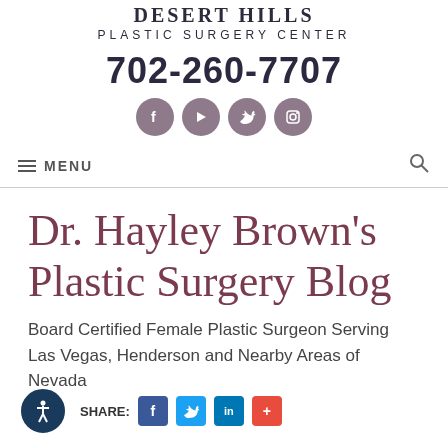DESERT HILLS PLASTIC SURGERY CENTER
702-260-7707
[Figure (infographic): Four circular social media icons (Facebook, YouTube, Twitter, Instagram) in muted purple/mauve color]
≡ MENU
Dr. Hayley Brown's Plastic Surgery Blog
Board Certified Female Plastic Surgeon Serving Las Vegas, Henderson and Nearby Areas of Nevada
[Figure (infographic): Accessibility icon button (dark blue circle with person symbol) and SHARE label with Facebook, Twitter, LinkedIn, and plus social share buttons]